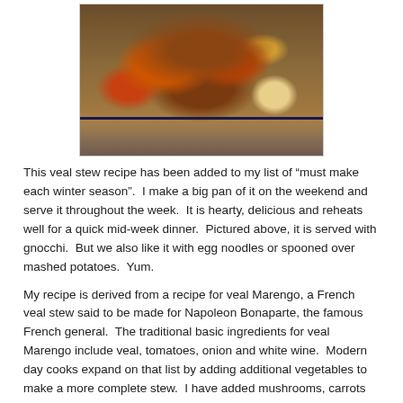[Figure (photo): A plate of veal stew with carrots and gnocchi, served in a deep dish with dark blue rim, on a wooden surface]
This veal stew recipe has been added to my list of "must make each winter season".  I make a big pan of it on the weekend and serve it throughout the week.  It is hearty, delicious and reheats well for a quick mid-week dinner.  Pictured above, it is served with gnocchi.  But we also like it with egg noodles or spooned over mashed potatoes.  Yum.
My recipe is derived from a recipe for veal Marengo, a French veal stew said to be made for Napoleon Bonaparte, the famous French general.  The traditional basic ingredients for veal Marengo include veal, tomatoes, onion and white wine.  Modern day cooks expand on that list by adding additional vegetables to make a more complete stew.  I have added mushrooms, carrots and pearl onions (I use frozen pearl onions straight from the freezer).   If you are not a fan